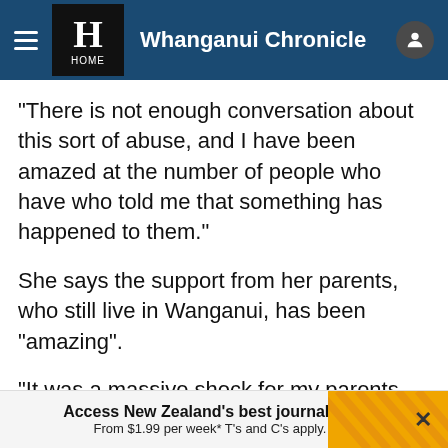Whanganui Chronicle
"There is not enough conversation about this sort of abuse, and I have been amazed at the number of people who have who told me that something has happened to them."
She says the support from her parents, who still live in Wanganui, has been "amazing".
"It was a massive shock for my parents. They only found out in July when I went to the police.
ADVERTISEMENT
Advertise with NZME.
"I had had a lot longer to process things, but it was a
Access New Zealand's best journalism
From $1.99 per week* T's and C's apply.